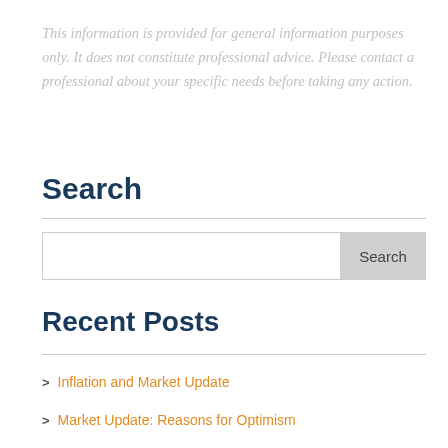This information is provided for general information purposes only. It does not constitute professional advice. Please contact a professional about your specific needs before taking any action.
Search
Search box
Recent Posts
Inflation and Market Update
Market Update: Reasons for Optimism